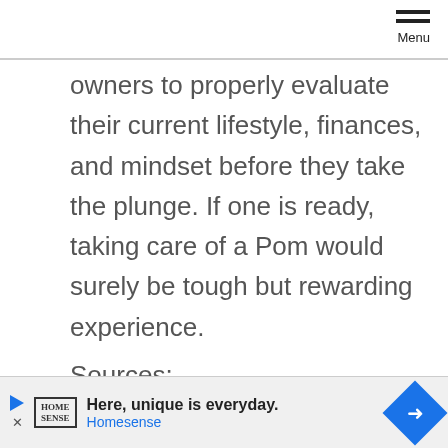Menu
owners to properly evaluate their current lifestyle, finances, and mindset before they take the plunge. If one is ready, taking care of a Pom would surely be tough but rewarding experience.
Sources:
http://www.thek9company.com.au/post-puppy-depression/
https://www.youtube.com/watch?
[Figure (other): Advertisement banner: Home Sense - Here, unique is everyday.]